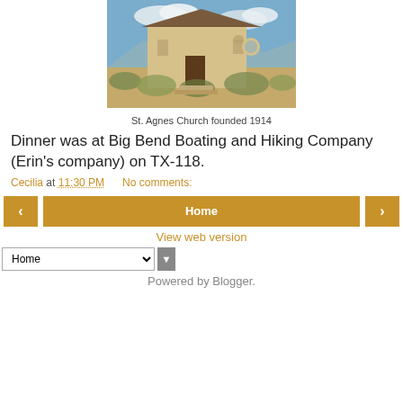[Figure (photo): Photograph of St. Agnes Church, an old adobe/stone building in a desert landscape with brush and mountains and blue sky in the background]
St. Agnes Church founded 1914
Dinner was at Big Bend Boating and Hiking Company (Erin's company) on TX-118.
Cecilia at 11:30 PM    No comments:
< Home > View web version Home ▼ Powered by Blogger.